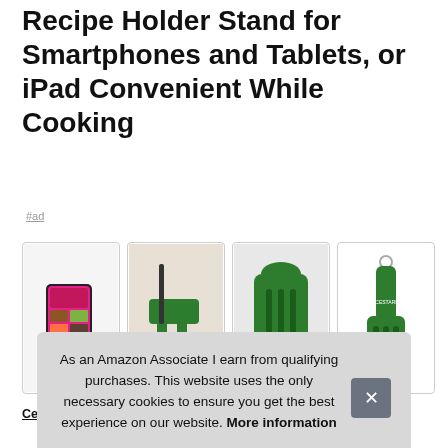Recipe Holder Stand for Smartphones and Tablets, or iPad Convenient While Cooking
#ad
[Figure (photo): Four product photos of a green recipe holder / phone stand in various configurations and angles, shown in card frames]
Ces... until slipping. versatile compatible with most electronic devices,
As an Amazon Associate I earn from qualifying purchases. This website uses the only necessary cookies to ensure you get the best experience on our website. More information